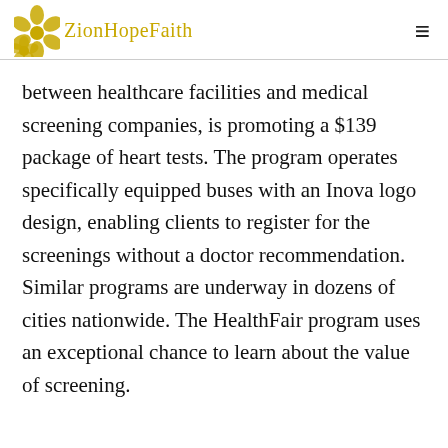ZionHopeFaith
between healthcare facilities and medical screening companies, is promoting a $139 package of heart tests. The program operates specifically equipped buses with an Inova logo design, enabling clients to register for the screenings without a doctor recommendation. Similar programs are underway in dozens of cities nationwide. The HealthFair program uses an exceptional chance to learn about the value of screening.